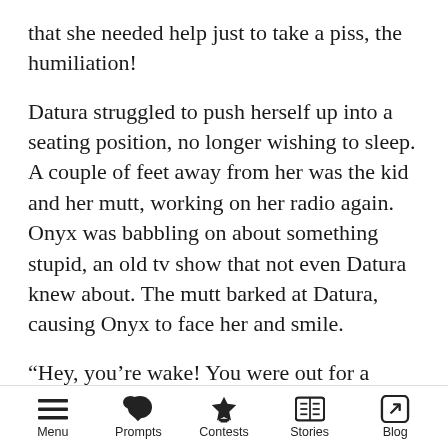that she needed help just to take a piss, the humiliation!
Datura struggled to push herself up into a seating position, no longer wishing to sleep. A couple of feet away from her was the kid and her mutt, working on her radio again. Onyx was babbling on about something stupid, an old tv show that not even Datura knew about. The mutt barked at Datura, causing Onyx to face her and smile.
“Hey, you’re wake! You were out for a pretty long time now.” Onyx commented, pointing out the obvious. “I got hungry, so I already ate, want
Menu | Prompts | Contests | Stories | Blog